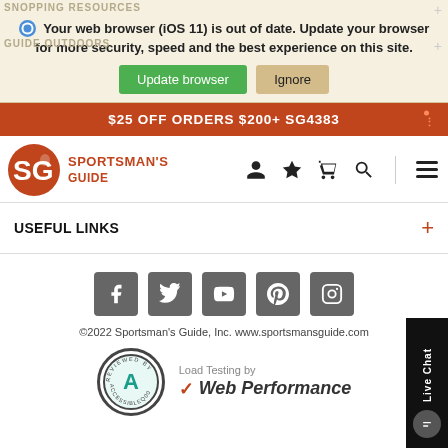Your web browser (iOS 11) is out of date. Update your browser for more security, speed and the best experience on this site.
Update browser   Ignore
$25 OFF ORDERS $200+ SG4383
[Figure (logo): Sportsman's Guide logo with orange SG circle and brand text]
USEFUL LINKS
[Figure (infographic): Social media icons: Facebook, Twitter, YouTube, Pinterest, Instagram]
©2022 Sportsman's Guide, Inc. www.sportsmansguide.com
[Figure (logo): Accessibility badge circle and Web Performance logo]